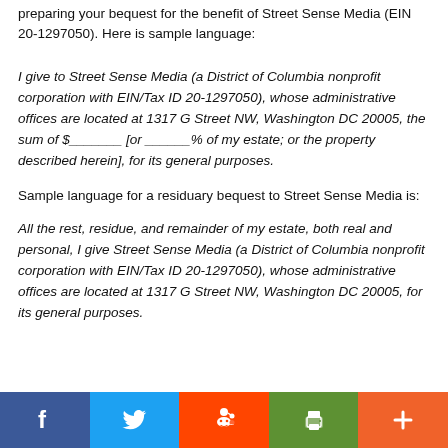preparing your bequest for the benefit of Street Sense Media (EIN 20-1297050). Here is sample language:
I give to Street Sense Media (a District of Columbia nonprofit corporation with EIN/Tax ID 20-1297050), whose administrative offices are located at 1317 G Street NW, Washington DC 20005, the sum of $_______ [or ______% of my estate; or the property described herein], for its general purposes.
Sample language for a residuary bequest to Street Sense Media is:
All the rest, residue, and remainder of my estate, both real and personal, I give Street Sense Media (a District of Columbia nonprofit corporation with EIN/Tax ID 20-1297050), whose administrative offices are located at 1317 G Street NW, Washington DC 20005, for its general purposes.
[Figure (infographic): Social share buttons row: Facebook (blue), Twitter (blue), Reddit (orange-red), Printer (green), More/Plus (orange)]